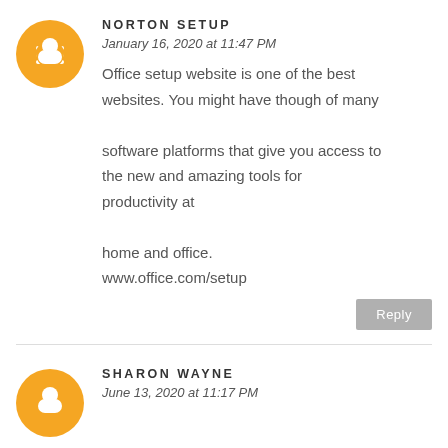NORTON SETUP
January 16, 2020 at 11:47 PM
Office setup website is one of the best websites. You might have though of many

software platforms that give you access to the new and amazing tools for productivity at

home and office.
www.office.com/setup
Reply
SHARON WAYNE
June 13, 2020 at 11:17 PM